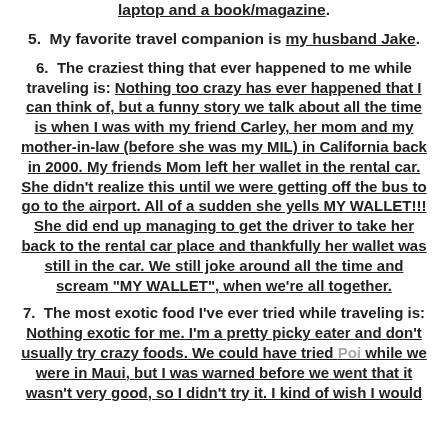laptop and a book/magazine.
5.  My favorite travel companion is my husband Jake.
6.  The craziest thing that ever happened to me while traveling is: Nothing too crazy has ever happened that I can think of, but a funny story we talk about all the time is when I was with my friend Carley, her mom and my mother-in-law (before she was my MIL) in California back in 2000. My friends Mom left her wallet in the rental car. She didn't realize this until we were getting off the bus to go to the airport. All of a sudden she yells MY WALLET!!! She did end up managing to get the driver to take her back to the rental car place and thankfully her wallet was still in the car. We still joke around all the time and scream "MY WALLET", when we're all together.
7.  The most exotic food I've ever tried while traveling is: Nothing exotic for me. I'm a pretty picky eater and don't usually try crazy foods. We could have tried Poi while we were in Maui, but I was warned before we went that it wasn't very good, so I didn't try it. I kind of wish I would